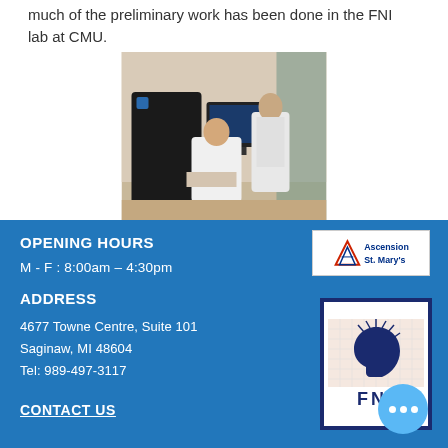much of the preliminary work has been done in the FNI lab at CMU.
[Figure (photo): Two people in white lab coats standing beside medical/scientific equipment in a laboratory room.]
OPENING HOURS
M - F : 8:00am – 4:30pm
[Figure (logo): Ascension St. Mary's hospital logo — white box with triangle symbol and text 'Ascension St. Mary's']
ADDRESS
4677 Towne Centre, Suite 101
Saginaw, MI  48604
Tel:  989-497-3117
[Figure (logo): FNI logo — dark blue bordered box with head/brain silhouette graphic and 'FNI' text below]
CONTACT US